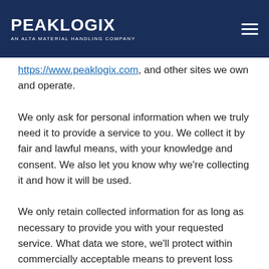PeakLogix — An Alta Material Handling Company
https://www.peaklogix.com, and other sites we own and operate.
We only ask for personal information when we truly need it to provide a service to you. We collect it by fair and lawful means, with your knowledge and consent. We also let you know why we're collecting it and how it will be used.
We only retain collected information for as long as necessary to provide you with your requested service. What data we store, we'll protect within commercially acceptable means to prevent loss and theft, as well as unauthorized access, disclosure, copying, use or modification.